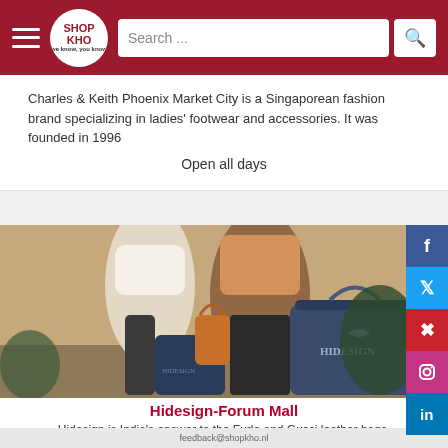Shop Kho — Search bar header with logo
Charles & Keith Phoenix Market City is a Singaporean fashion brand specializing in ladies' footwear and accessories. It was founded in 1996
Open all days
[Figure (photo): Two people walking and carrying Hidesign branded shopping bags outdoors]
Hidesign-Forum Mall
Hidesign is India's answer to the Furla and Gucci leather bags.
080666 70121
feedback@shopkho.nl